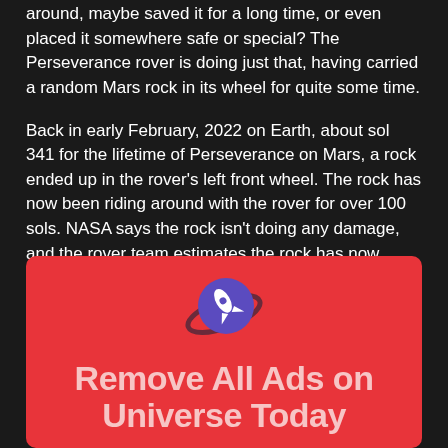around, maybe saved it for a long time, or even placed it somewhere safe or special? The Perseverance rover is doing just that, having carried a random Mars rock in its wheel for quite some time.
Back in early February, 2022 on Earth, about sol 341 for the lifetime of Perseverance on Mars, a rock ended up in the rover's left front wheel. The rock has now been riding around with the rover for over 100 sols. NASA says the rock isn't doing any damage, and the rover team estimates the rock has now traveled more than 8.5 kilometers (5.3 miles) from its original location.
[Figure (illustration): Red advertisement banner with a purple circle rocket logo icon and text 'Remove All Ads on Universe Today']